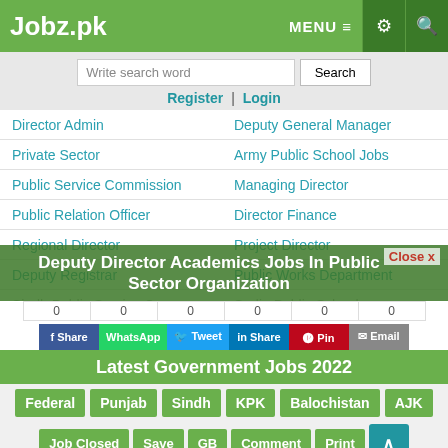Jobz.pk
Write search word | Search
Register | Login
| Director Admin | Deputy General Manager |
| Private Sector | Army Public School Jobs |
| Public Service Commission | Managing Director |
| Public Relation Officer | Director Finance |
| Regional Director | Project Director |
| Deputy Registrar | Public Works Department |
| Sindh Public Service Com... | Sadiq Public School... |
| Deputy | Art Director |
Deputy Director Academics Jobs In Public Sector Organization
Share | WhatsApp | Tweet | Share | Pin | Email
Latest Government Jobs 2022
Federal | Punjab | Sindh | KPK | Balochistan | AJK
Job Closed | Save | GB | Comment | Print
Latest comments & questions about this job?